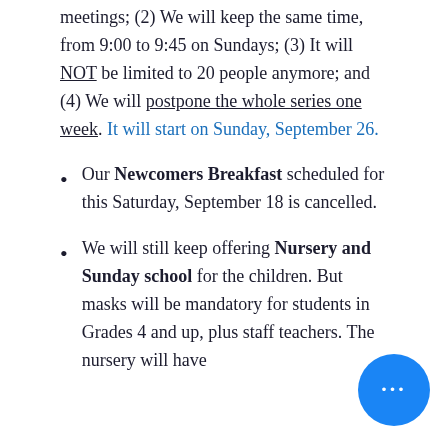meetings; (2) We will keep the same time, from 9:00 to 9:45 on Sundays; (3) It will NOT be limited to 20 people anymore; and (4) We will postpone the whole series one week. It will start on Sunday, September 26.
Our Newcomers Breakfast scheduled for this Saturday, September 18 is cancelled.
We will still keep offering Nursery and Sunday school for the children. But masks will be mandatory for students in Grades 4 and up, plus staff teachers. The nursery will have